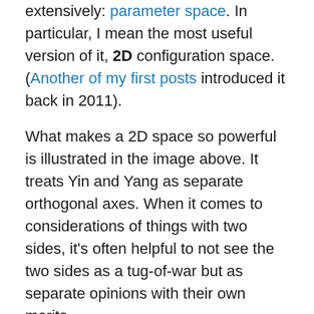extensively. parameter space. In particular, I mean the most useful version of it, 2D configuration space. (Another of my first posts introduced it back in 2011).
What makes a 2D space so powerful is illustrated in the image above. It treats Yin and Yang as separate orthogonal axes. When it comes to considerations of things with two sides, it's often helpful to not see the two sides as a tug-of-war but as separate opinions with their own merits.
The problem with a tug-of-war isn't so much that it implies a winner and a loser, a zero-sum either/or stance, but that when both sides are strong it leaves one on the fence (like poor Buridan's Ass). Worse, feeling in the middle can be perceived as "zero" — often both sides see it as a form of desertion. (Agnostics and bisexuals often get crap from both camps of their respective divides.)